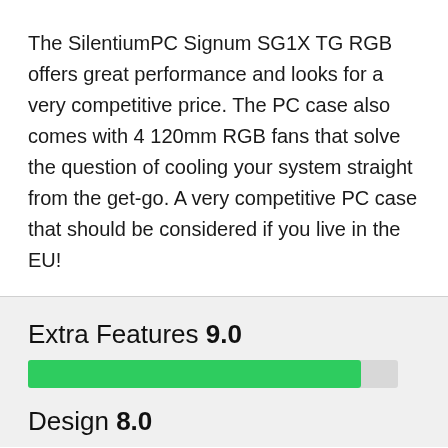The SilentiumPC Signum SG1X TG RGB offers great performance and looks for a very competitive price. The PC case also comes with 4 120mm RGB fans that solve the question of cooling your system straight from the get-go. A very competitive PC case that should be considered if you live in the EU!
Extra Features 9.0
[Figure (other): Green progress bar representing Extra Features score of 9.0 out of 10]
Design 8.0